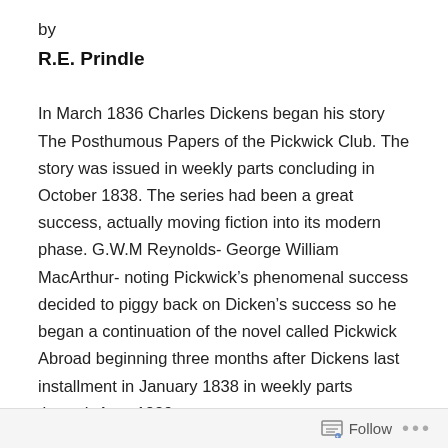by
R.E. Prindle
In March 1836 Charles Dickens began his story The Posthumous Papers of the Pickwick Club. The story was issued in weekly parts concluding in October 1838. The series had been a great success, actually moving fiction into its modern phase. G.W.M Reynolds- George William MacArthur- noting Pickwick’s phenomenal success decided to piggy back on Dicken’s success so he began a continuation of the novel called Pickwick Abroad beginning three months after Dickens last installment in January 1838 in weekly parts through Aug. 1839.
Follow •••